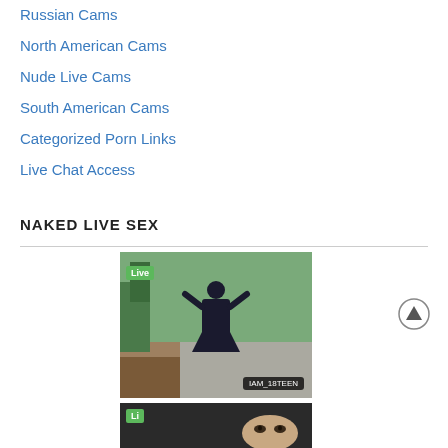Russian Cams
North American Cams
Nude Live Cams
South American Cams
Categorized Porn Links
Live Chat Access
NAKED LIVE SEX
[Figure (photo): Live webcam thumbnail showing a person outdoors with Live badge and username IAM_18TEEN]
[Figure (photo): Partially visible live webcam thumbnail at the bottom]